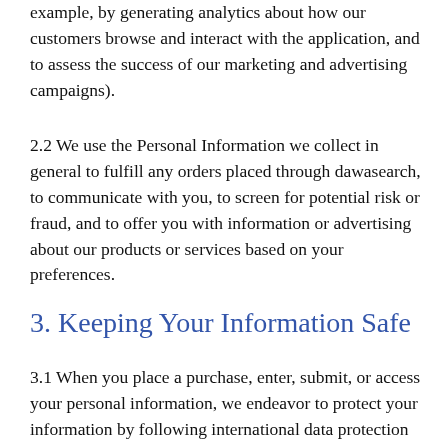example, by generating analytics about how our customers browse and interact with the application, and to assess the success of our marketing and advertising campaigns).
2.2 We use the Personal Information we collect in general to fulfill any orders placed through dawasearch, to communicate with you, to screen for potential risk or fraud, and to offer you with information or advertising about our products or services based on your preferences.
3. Keeping Your Information Safe
3.1 When you place a purchase, enter, submit, or access your personal information, we endeavor to protect your information by following international data protection